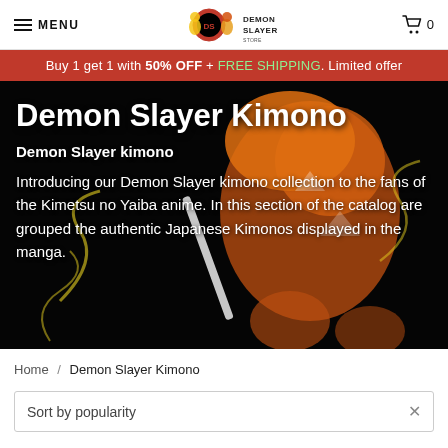MENU | Demon Slayer Store logo | Cart 0
Buy 1 get 1 with 50% OFF + FREE SHIPPING. Limited offer
[Figure (photo): Demon Slayer character action figure (Zenitsu/Agatsuma-style character in orange kimono with sword) on black background with glowing effects]
Demon Slayer Kimono
Demon Slayer kimono
Introducing our Demon Slayer kimono collection to the fans of the Kimetsu no Yaiba anime. In this section of the catalog are grouped the authentic Japanese Kimonos displayed in the manga.
Home / Demon Slayer Kimono
Sort by popularity